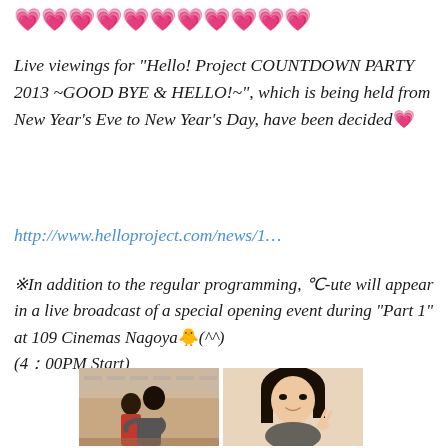[Figure (illustration): Row of pink/magenta heart emojis]
Live viewings for “Hello! Project COUNTDOWN PARTY 2013 ~GOOD BYE & HELLO!~”, which is being held from New Year’s Eve to New Year’s Day, have been decided💞
http://www.helloproject.com/news/1…
※In addition to the regular programming, ºC-ute will appear in a live broadcast of a special opening event during “Part 1” at 109 Cinemas Nagoya🐣(^^) (4：00PM Start)
[Figure (photo): Two photos side by side: left shows two people hugging in a store, right shows a young woman making a peace sign]